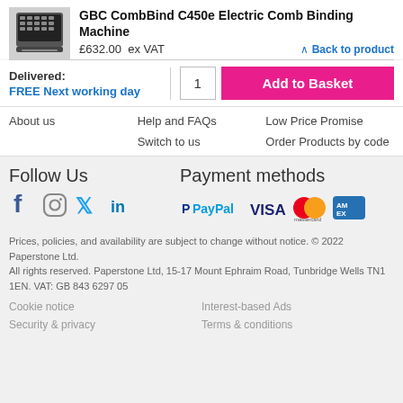GBC CombBind C450e Electric Comb Binding Machine
£632.00  ex VAT
Back to product
Delivered:
FREE Next working day
1
Add to Basket
About us
Help and FAQs
Low Price Promise
Switch to us
Order Products by code
Follow Us
Payment methods
[Figure (infographic): Social media icons: Facebook, Instagram, Twitter, LinkedIn]
[Figure (infographic): Payment method logos: PayPal, VISA, Mastercard, American Express]
Prices, policies, and availability are subject to change without notice. © 2022 Paperstone Ltd.
All rights reserved. Paperstone Ltd, 15-17 Mount Ephraim Road, Tunbridge Wells TN1 1EN. VAT: GB 843 6297 05
Cookie notice
Interest-based Ads
Security & privacy
Terms & conditions